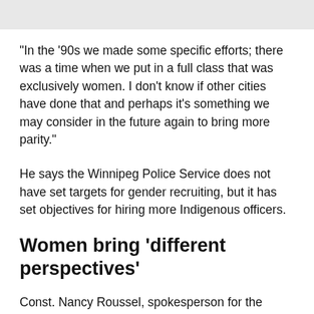"In the '90s we made some specific efforts; there was a time when we put in a full class that was exclusively women. I don't know if other cities have done that and perhaps it's something we may consider in the future again to bring more parity."
He says the Winnipeg Police Service does not have set targets for gender recruiting, but it has set objectives for hiring more Indigenous officers.
Women bring 'different perspectives'
Const. Nancy Roussel, spokesperson for the Quebec City Police Service, says while she know women were